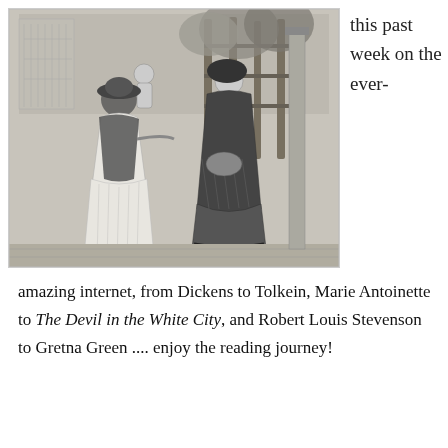[Figure (illustration): Victorian-era black and white engraving illustration showing two women in period dress standing near a fence or gate with plants in background. One woman on the left wears a light-colored long dress and holds a child, the other on the right wears a dark dress and bonnet.]
this past week on the ever-
amazing internet, from Dickens to Tolkein, Marie Antoinette to The Devil in the White City, and Robert Louis Stevenson to Gretna Green .... enjoy the reading journey!